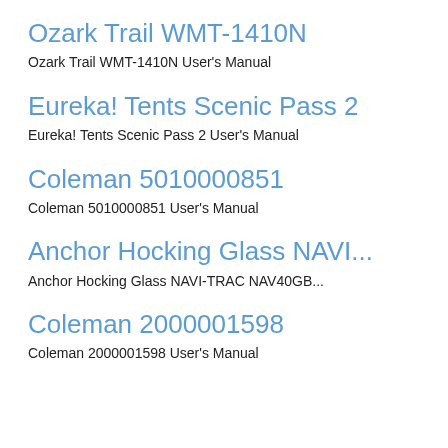Ozark Trail WMT-1410N
Ozark Trail WMT-1410N User's Manual
Eureka! Tents Scenic Pass 2
Eureka! Tents Scenic Pass 2 User's Manual
Coleman 5010000851
Coleman 5010000851 User's Manual
Anchor Hocking Glass NAVI...
Anchor Hocking Glass NAVI-TRAC NAV40GB...
Coleman 2000001598
Coleman 2000001598 User's Manual